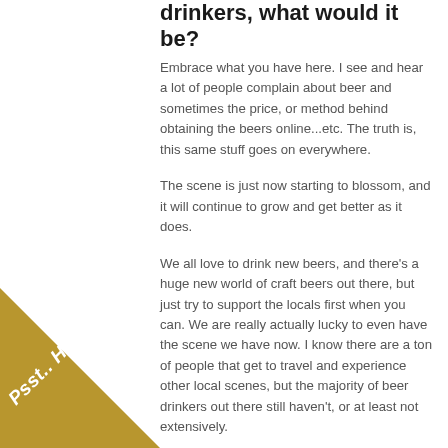drinkers, what would it be?
Embrace what you have here. I see and hear a lot of people complain about beer and sometimes the price, or method behind obtaining the beers online...etc. The truth is, this same stuff goes on everywhere.
The scene is just now starting to blossom, and it will continue to grow and get better as it does.
We all love to drink new beers, and there's a huge new world of craft beers out there, but just try to support the locals first when you can. We are really actually lucky to even have the scene we have now. I know there are a ton of people that get to travel and experience other local scenes, but the majority of beer drinkers out there still haven't, or at least not extensively.
Just me when I say, what we have here is special, and putting our mark on the industry as we speak. ing else, it's going to have its growing pains,
[Figure (other): Gold diagonal banner in bottom-left corner with white italic text reading 'Psst.. Hey, you!']